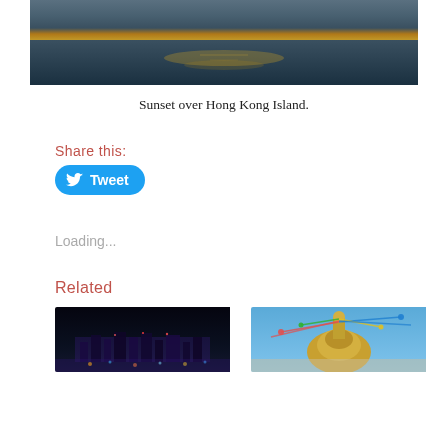[Figure (photo): Sunset over Hong Kong Island — water surface with golden light reflection, dark tones at top]
Sunset over Hong Kong Island.
Share this:
[Figure (screenshot): Twitter Tweet button — blue rounded rectangle with bird icon and 'Tweet' text]
Loading...
Related
[Figure (photo): Night cityscape — Hong Kong city skyline with colorful lights at night]
[Figure (photo): Buddhist stupa with colorful prayer flags against blue sky — likely Swayambhunath in Kathmandu]